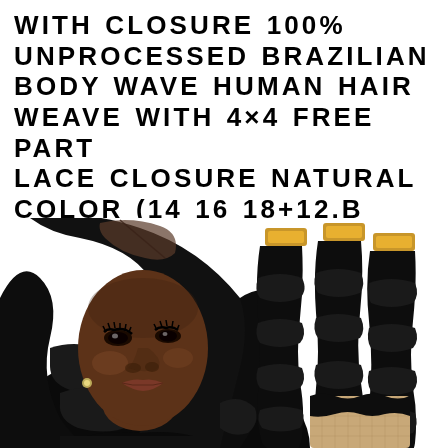WITH CLOSURE 100% UNPROCESSED BRAZILIAN BODY WAVE HUMAN HAIR WEAVE WITH 4×4 FREE PART LACE CLOSURE NATURAL COLOR (14 16 18+12,B
[Figure (photo): Left: portrait of a woman with long black body wave hair wearing a black top, with a lace part visible at the hairline. Right: three bundles of black body wave human hair with gold weft tags, and a partial view of a lace closure piece at the bottom right.]